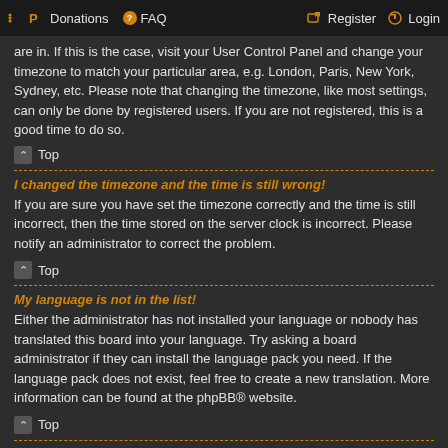Donations  FAQ  Register  Login
are in. If this is the case, visit your User Control Panel and change your timezone to match your particular area, e.g. London, Paris, New York, Sydney, etc. Please note that changing the timezone, like most settings, can only be done by registered users. If you are not registered, this is a good time to do so.
Top
I changed the timezone and the time is still wrong!
If you are sure you have set the timezone correctly and the time is still incorrect, then the time stored on the server clock is incorrect. Please notify an administrator to correct the problem.
Top
My language is not in the list!
Either the administrator has not installed your language or nobody has translated this board into your language. Try asking a board administrator if they can install the language pack you need. If the language pack does not exist, feel free to create a new translation. More information can be found at the phpBB® website.
Top
What are the images next to my username?